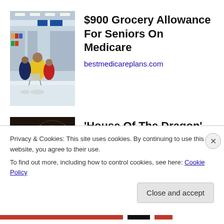[Figure (photo): Shoppers in a grocery store aisle, Walmart-style big box store interior with yellow coats visible]
$900 Grocery Allowance For Seniors On Medicare
bestmedicareplans.com
[Figure (photo): Characters from House of the Dragon TV show in medieval fantasy costumes on a dark stage with dragon sigil backdrop]
'House Of The Dragon' Showrunners - They Are The Only Survivors
Shadow and Act
Privacy & Cookies: This site uses cookies. By continuing to use this website, you agree to their use.
To find out more, including how to control cookies, see here: Cookie Policy
Close and accept